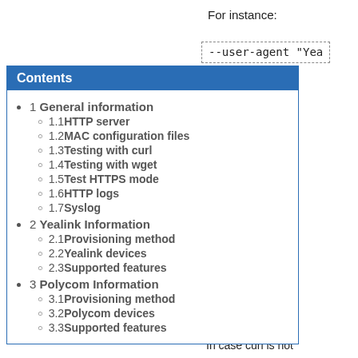For instance:
--user-agent "Yea
ng in browser visable, if you to test validity ge XML ut. Devices that re XML guration will be d with text/xml ent-Type and will be rstood by sers. You will know if XML ment is valid or
ng with wget
In case curl is not
1 General information
1.1 HTTP server
1.2 MAC configuration files
1.3 Testing with curl
1.4 Testing with wget
1.5 Test HTTPS mode
1.6 HTTP logs
1.7 Syslog
2 Yealink Information
2.1 Provisioning method
2.2 Yealink devices
2.3 Supported features
3 Polycom Information
3.1 Provisioning method
3.2 Polycom devices
3.3 Supported features